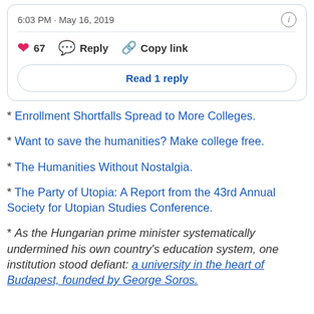[Figure (screenshot): Tweet card showing timestamp 6:03 PM · May 16, 2019, with a heart icon showing 67 likes, Reply button, Copy link button, and a Read 1 reply button.]
* Enrollment Shortfalls Spread to More Colleges.
* Want to save the humanities? Make college free.
* The Humanities Without Nostalgia.
* The Party of Utopia: A Report from the 43rd Annual Society for Utopian Studies Conference.
* As the Hungarian prime minister systematically undermined his own country's education system, one institution stood defiant: a university in the heart of Budapest, founded by George Soros.